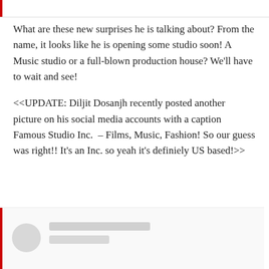What are these new surprises he is talking about? From the name, it looks like he is opening some studio soon! A Music studio or a full-blown production house? We'll have to wait and see!

<<UPDATE: Diljit Dosanjh recently posted another picture on his social media accounts with a caption Famous Studio Inc.  – Films, Music, Fashion! So our guess was right!! It's an Inc. so yeah it's definiely US based!>>
[Figure (other): Social media post card with red left border, circular avatar placeholder, and two grey text placeholder lines representing a blurred/redacted social media profile.]